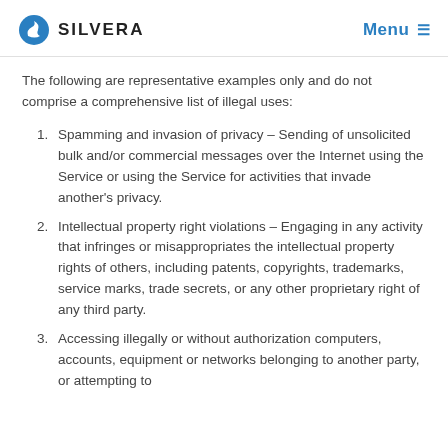SILVERA   Menu
The following are representative examples only and do not comprise a comprehensive list of illegal uses:
Spamming and invasion of privacy – Sending of unsolicited bulk and/or commercial messages over the Internet using the Service or using the Service for activities that invade another's privacy.
Intellectual property right violations – Engaging in any activity that infringes or misappropriates the intellectual property rights of others, including patents, copyrights, trademarks, service marks, trade secrets, or any other proprietary right of any third party.
Accessing illegally or without authorization computers, accounts, equipment or networks belonging to another party, or attempting to...